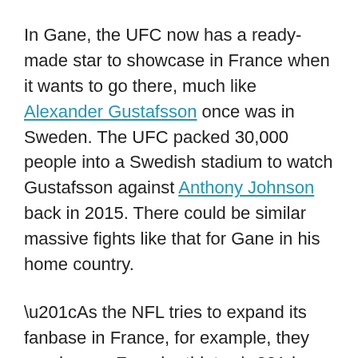In Gane, the UFC now has a ready-made star to showcase in France when it wants to go there, much like Alexander Gustafsson once was in Sweden. The UFC packed 30,000 people into a Swedish stadium to watch Gustafsson against Anthony Johnson back in 2015. There could be similar massive fights like that for Gane in his home country.
“As the NFL tries to expand its fanbase in France, for example, they need some French athletes,” Epstein told ESPN in reference to the hometown hero idea. “That’s tough. We have a really strong advantage in that space with athletes from all over the world.”
As far as France goes, UFC execs really believe, based on analytics, that it has a chance to be one of its most important international markets. For one, fans there have